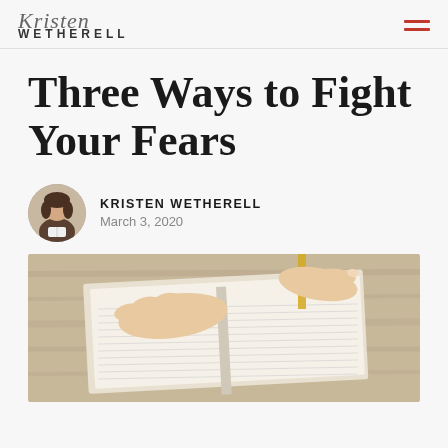Kristen Wetherell
Three Ways to Fight Your Fears
KRISTEN WETHERELL
March 3, 2020
[Figure (photo): Hands resting open on a Bible with a bookmark, on a wooden table background.]